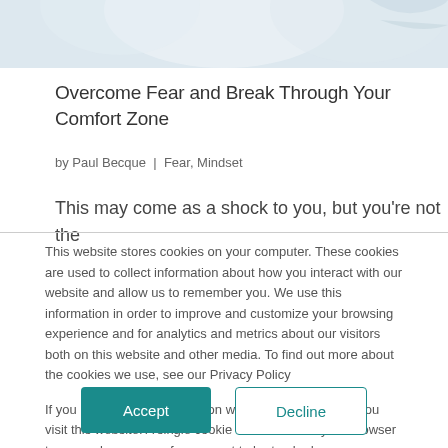[Figure (photo): Partial hero image at top of page showing blurred background, light grey/white tones]
Overcome Fear and Break Through Your Comfort Zone
by Paul Becque | Fear, Mindset
This may come as a shock to you, but you're not the
This website stores cookies on your computer. These cookies are used to collect information about how you interact with our website and allow us to remember you. We use this information in order to improve and customize your browsing experience and for analytics and metrics about our visitors both on this website and other media. To find out more about the cookies we use, see our Privacy Policy
If you decline, your information won't be tracked when you visit this website. A single cookie will be used in your browser to remember your preference not to be tracked.